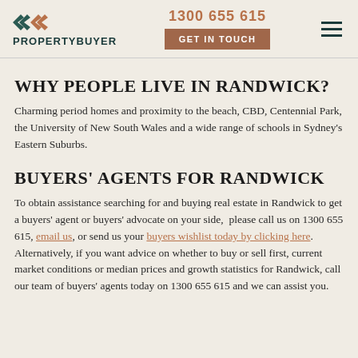PROPERTYBUYER | 1300 655 615 | GET IN TOUCH
WHY PEOPLE LIVE IN RANDWICK?
Charming period homes and proximity to the beach, CBD, Centennial Park, the University of New South Wales and a wide range of schools in Sydney's Eastern Suburbs.
BUYERS' AGENTS FOR RANDWICK
To obtain assistance searching for and buying real estate in Randwick to get a buyers' agent or buyers' advocate on your side,  please call us on 1300 655 615, email us, or send us your buyers wishlist today by clicking here. Alternatively, if you want advice on whether to buy or sell first, current market conditions or median prices and growth statistics for Randwick, call our team of buyers' agents today on 1300 655 615 and we can assist you.